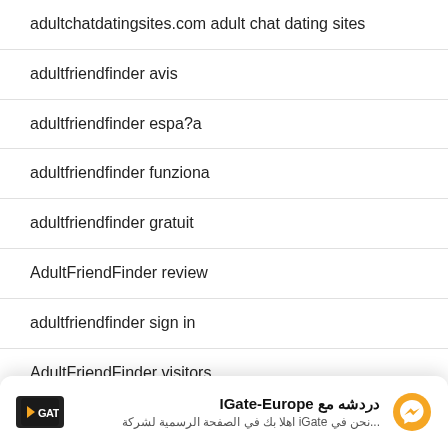adultchatdatingsites.com adult chat dating sites
adultfriendfinder avis
adultfriendfinder espa?a
adultfriendfinder funziona
adultfriendfinder gratuit
AdultFriendFinder review
adultfriendfinder sign in
AdultFriendFinder visitors
[Figure (screenshot): IGate-Europe chat notification banner at the bottom. Shows GATE logo, Arabic text 'دردشه مع IGate-Europe' and subtitle in Arabic, with a Messenger icon button on the right.]